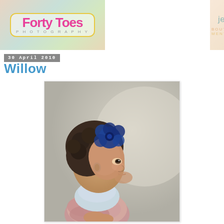[Figure (logo): Forty Toes Photography logo on left, colorful patterned background with pink script text and yellow border frame]
[Figure (logo): Jennifer Anderson-Wiggins logo on right, text reads 'jennifer anderson-wiggins' with subtitle 'BOUTIQUE. PHOTOGRAPHY. MENTORING.']
30 April 2010
Willow
[Figure (photo): Portrait of a young toddler girl with curly hair and a large blue flower hair accessory, wearing a light blue top and pink ruffled outfit, looking to the side, photographed against a soft grey background]